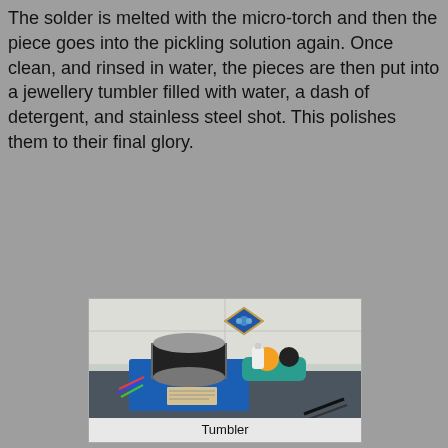The solder is melted with the micro-torch and then the piece goes into the pickling solution again. Once clean, and rinsed in water, the pieces are then put into a jewellery tumbler filled with water, a dash of detergent, and stainless steel shot. This polishes them to their final glory.
[Figure (photo): A blue jewellery tumbler machine sitting on a countertop. The tumbler has a cylindrical barrel wrapped in black rubber/tape. Behind it is a teal bowl containing an orange and a dark ball. A decorative blue and gold tile is visible on the white tiled wall behind. A book and various items are visible inside the tumbler tray. Scissors are visible in the bottom right.]
Tumbler